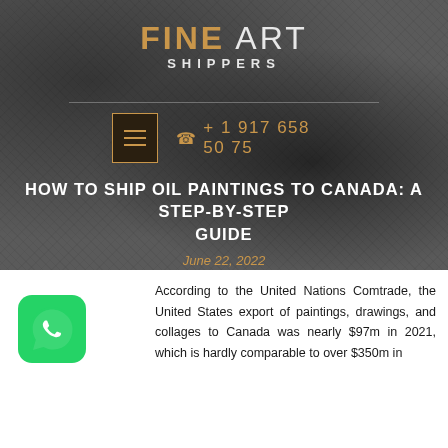FINE ART SHIPPERS
+ 1 917 658 50 75
HOW TO SHIP OIL PAINTINGS TO CANADA: A STEP-BY-STEP GUIDE
June 22, 2022
[Figure (logo): WhatsApp icon - green rounded square with white phone handset symbol]
According to the United Nations Comtrade, the United States export of paintings, drawings, and collages to Canada was nearly $97m in 2021, which is hardly comparable to over $350m in